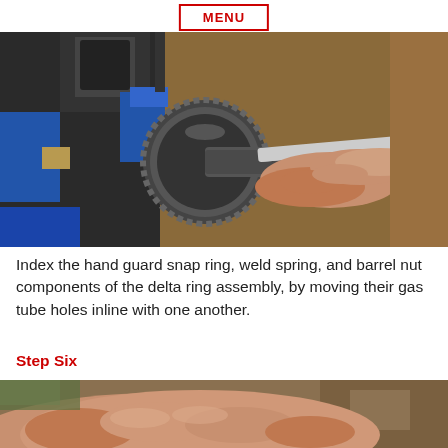MENU
[Figure (photo): Close-up photo of hands using a wrench/tool to work on a barrel nut and delta ring assembly mounted in a vise with blue jaws, showing the threaded/ridged cylindrical components.]
Index the hand guard snap ring, weld spring, and barrel nut components of the delta ring assembly, by moving their gas tube holes inline with one another.
Step Six
[Figure (photo): Close-up photo of hands working on a firearm component, partial view showing fingers manipulating a part against a blurred workshop background.]